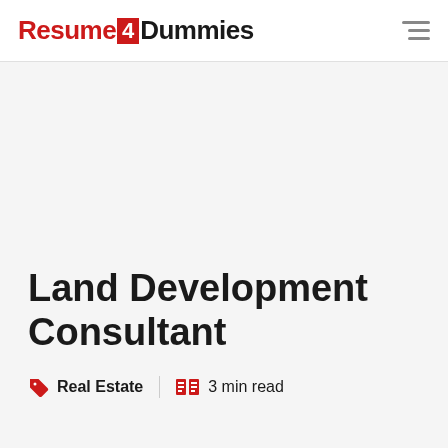Resume4Dummies
[Figure (other): Advertisement / banner placeholder area]
Land Development Consultant
Real Estate   3 min read